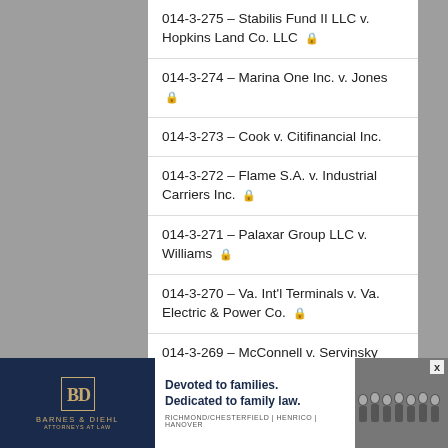014-3-275 – Stabilis Fund II LLC v. Hopkins Land Co. LLC 🔒
014-3-274 – Marina One Inc. v. Jones 🔒
014-3-273 – Cook v. Citifinancial Inc.
014-3-272 – Flame S.A. v. Industrial Carriers Inc. 🔒
014-3-271 – Palaxar Group LLC v. Williams 🔒
014-3-270 – Va. Int'l Terminals v. Va. Electric & Power Co. 🔒
014-3-269 – McConnell v. Servinsky Eng'g PLLC
[Figure (advertisement): Barnes & Diehl law firm advertisement. Navy blue banner with gold logo on left, white center section with text 'Devoted to families. Dedicated to family law.' and locations 'Richmond/Chesterfield | Henrico | Hanover', group photo of attorneys on right.]